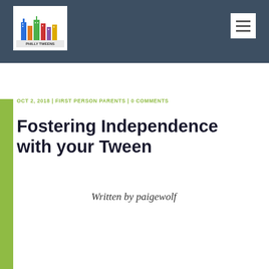Philly Tweens — navigation header with logo and hamburger menu
OCT 2, 2018 | FIRST PERSON PARENTS | 0 COMMENTS
Fostering Independence with your Tween
Written by paigewolf